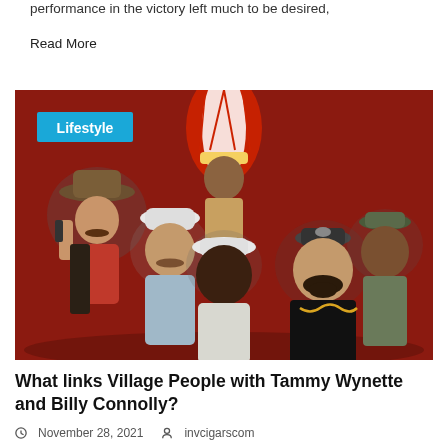performance in the victory left much to be desired,
Read More
[Figure (photo): Group photo of the Village People in costume against a red background, with a 'Lifestyle' badge overlay in cyan/blue]
What links Village People with Tammy Wynette and Billy Connolly?
November 28, 2021  invcigarscom